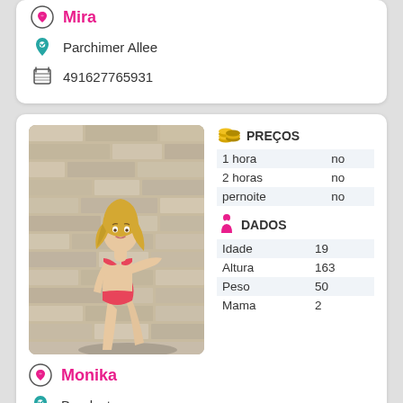Mira
Parchimer Allee
491627765931
[Figure (photo): Photo of a young blonde woman in a pink bikini leaning against a stone wall]
|  | PREÇOS |  |
| --- | --- | --- |
| 1 hora | no |  |
| 2 horas | no |  |
| pernoite | no |  |
|  | DADOS |  |
| --- | --- | --- |
| Idade | 19 |  |
| Altura | 163 |  |
| Peso | 50 |  |
| Mama | 2 |  |
Monika
Bundestag
4915221024437